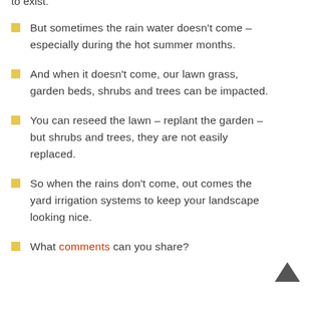to exist.
But sometimes the rain water doesn't come – especially during the hot summer months.
And when it doesn't come, our lawn grass, garden beds, shrubs and trees can be impacted.
You can reseed the lawn – replant the garden – but shrubs and trees, they are not easily replaced.
So when the rains don't come, out comes the yard irrigation systems to keep your landscape looking nice.
[Figure (other): Up arrow / back to top button icon]
What comments can you share?